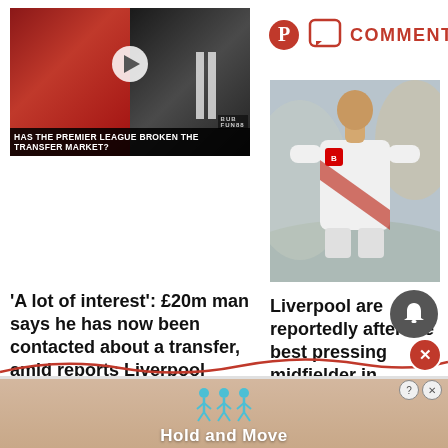[Figure (screenshot): Video thumbnail showing two football players: one holding a Manchester United shirt and one in a Newcastle kit, with a play button overlay. Title: 'Has The Premier League Broken The Transfer Market?']
[Figure (photo): A football player in a red and white RB Leipzig/Bundesliga kit running during a match]
COMMENTS
'A lot of interest': £20m man says he has now been contacted about a transfer, amid reports Liverpool want him
Liverpool are reportedly after the best pressing midfielder in Europe, could cost just £25m
[Figure (infographic): Advertisement banner showing stick figures and text 'Hold and Move']